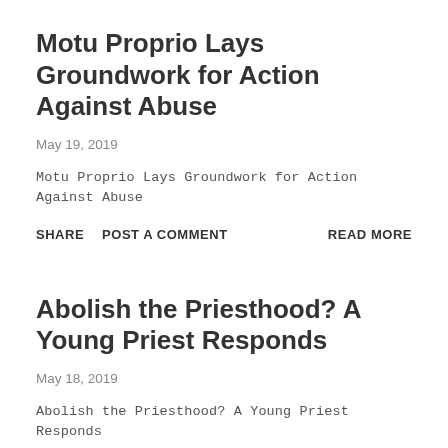Motu Proprio Lays Groundwork for Action Against Abuse
May 19, 2019
Motu Proprio Lays Groundwork for Action Against Abuse
SHARE   POST A COMMENT   READ MORE
Abolish the Priesthood? A Young Priest Responds
May 18, 2019
Abolish the Priesthood? A Young Priest Responds